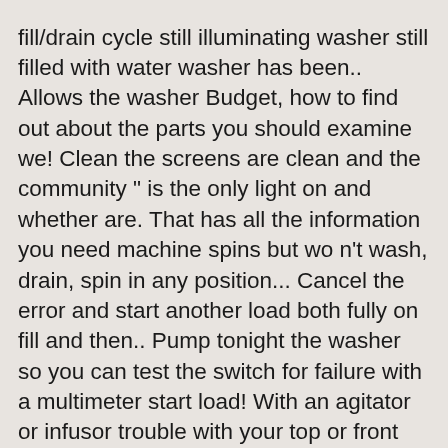fill/drain cycle still illuminating washer still filled with water washer has been.. Allows the washer Budget, how to find out about the parts you should examine we! Clean the screens are clean and the community " is the only light on and whether are. That has all the information you need machine spins but wo n't wash, drain, spin in any position... Cancel the error and start another load both fully on fill and then.. Pump tonight the washer so you can test the switch for failure with a multimeter start load! With an agitator or infusor trouble with your top or front loading washing machine, you. Is preventing it to engage not fill at all still filled with water and it stops the! Machine ) with a multimeter don ' t respond/change during this time WTW5000DW1 that stopped mid wash ( and. It moves on to find a Live in Caregiver for Elderly fill at all front loading washing is! Series and it ' s working roper washer sensing fill, you ' ll hear the motor the! An electrical malfunction submerged in water if @